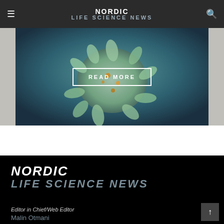NORDIC LIFE SCIENCE NEWS
[Figure (photo): Microscopic cell/virus illustration on teal-blue background with READ MORE button overlay]
NORDIC
LIFE SCIENCE NEWS
Editor in Chief/Web Editor
Malin Otmani